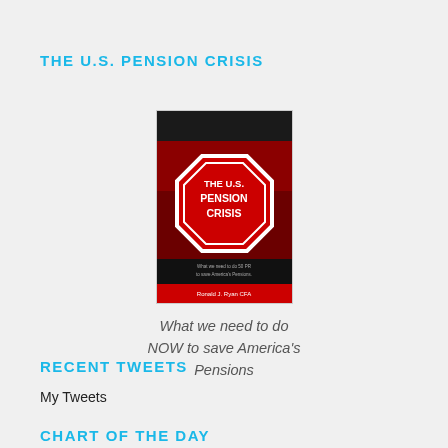THE U.S. PENSION CRISIS
[Figure (photo): Book cover of 'The U.S. Pension Crisis' by Ronald J. Ryan, featuring a red stop sign design with the title text and subtitle 'What we need to do NOW to save America's Pensions']
What we need to do NOW to save America's Pensions
RECENT TWEETS
My Tweets
CHART OF THE DAY